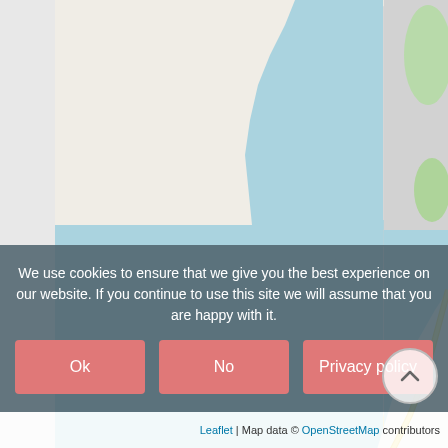[Figure (map): OpenStreetMap tile map showing a coastal area with blue water, grey land tiles still loading, a yellow coastal road, green vegetation area, and a blue location pin marker on the right side of the map near the coastline.]
We use cookies to ensure that we give you the best experience on our website. If you continue to use this site we will assume that you are happy with it.
Ok
No
Privacy policy
Leaflet | Map data © OpenStreetMap contributors